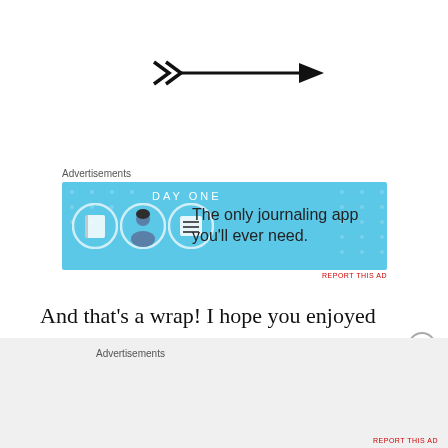[Figure (illustration): A decorative arrow pointing right, with a chevron/feather tail on the left and a sharp arrowhead on the right, rendered in black.]
[Figure (illustration): Advertisement banner for Day One journaling app. Blue background with app icons on left and text 'The only journaling app you'll ever need.' on right. Labeled 'Advertisements' above.]
And that’s a wrap! I hope you enjoyed seeing these photos, let me know in the comments, which photo was your favorite?
[Figure (illustration): Bottom advertisement area with gray background. Labeled 'Advertisements'. Contains a close/dismiss button (X in circle) to the upper right.]